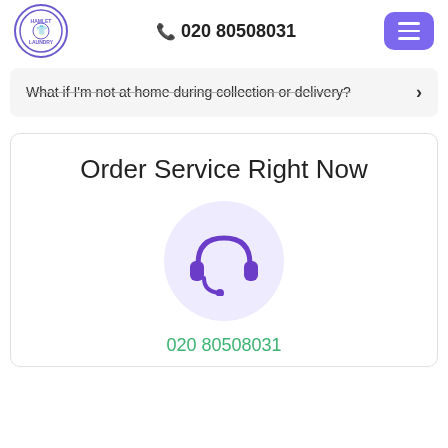020 80508031
What if I'm not at home during collection or delivery?
Order Service Right Now
[Figure (illustration): Headset/customer service icon in purple inside a light purple circle]
020 80508031